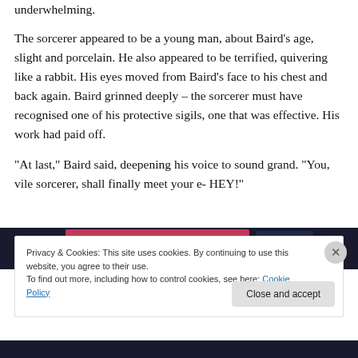underwhelming.
The sorcerer appeared to be a young man, about Baird's age, slight and porcelain. He also appeared to be terrified, quivering like a rabbit. His eyes moved from Baird's face to his chest and back again. Baird grinned deeply – the sorcerer must have recognised one of his protective sigils, one that was effective. His work had paid off.
“At last,” Baird said, deepening his voice to sound grand. “You, vile sorcerer, shall finally meet your e- HEY!”
[Figure (screenshot): Partial image of a webpage or banner with dark navy and pink/orange colored sections, partially obscured by cookie banner]
Privacy & Cookies: This site uses cookies. By continuing to use this website, you agree to their use.
To find out more, including how to control cookies, see here: Cookie Policy
Close and accept